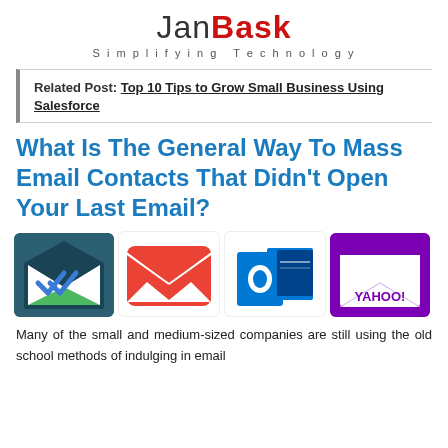JanBask — Simplifying Technology
Related Post: Top 10 Tips to Grow Small Business Using Salesforce
What Is The General Way To Mass Email Contacts That Didn't Open Your Last Email?
[Figure (illustration): Four email service icons side by side: a dark blue envelope with green bottom and white double checkmark, a Gmail red envelope icon, a Microsoft Outlook blue icon, and a Yahoo! Mail purple icon.]
Many of the small and medium-sized companies are still using the old school methods of indulging in email